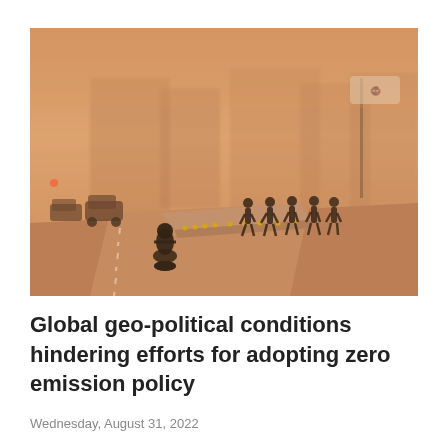[Figure (photo): A smoggy, hazy urban street scene in warm orange tones. A motorcyclist rides in the foreground on a wide road, cars in the background, silhouetted pedestrians walk along a median divider, and large buildings are barely visible through thick smog.]
Global geo-political conditions hindering efforts for adopting zero emission policy
Wednesday, August 31, 2022